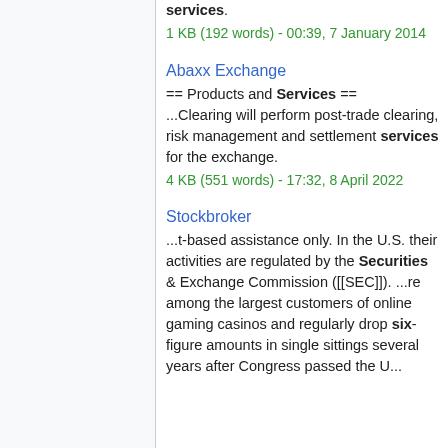services.
1 KB (192 words) - 00:39, 7 January 2014
Abaxx Exchange
== Products and Services == ...Clearing will perform post-trade clearing, risk management and settlement services for the exchange.
4 KB (551 words) - 17:32, 8 April 2022
Stockbroker
...t-based assistance only. In the U.S. their activities are regulated by the Securities & Exchange Commission ([[SEC]]). ...re among the largest customers of online gaming casinos and regularly drop six-figure amounts in single sittings several years after Congress passed the U...